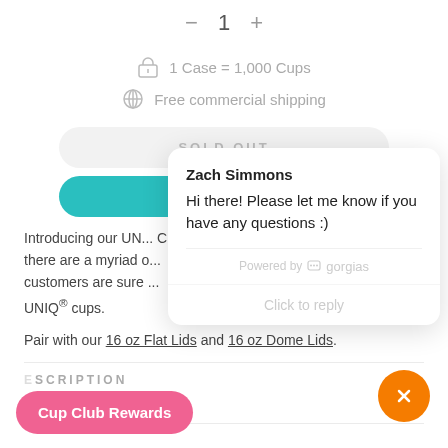− 1 +
1 Case = 1,000 Cups
Free commercial shipping
SOLD OUT
NOTIFY
Introducing our UN... Cream Cups. We m... there are a myriad o... customers are sure ... UNIQ® cups.
[Figure (screenshot): Chat popup from Zach Simmons saying 'Hi there! Please let me know if you have any questions :)' powered by gorgias, with a 'Click to reply' prompt.]
Pair with our 16 oz Flat Lids and 16 oz Dome Lids.
ESCRIPTION
Cup Club Rewards